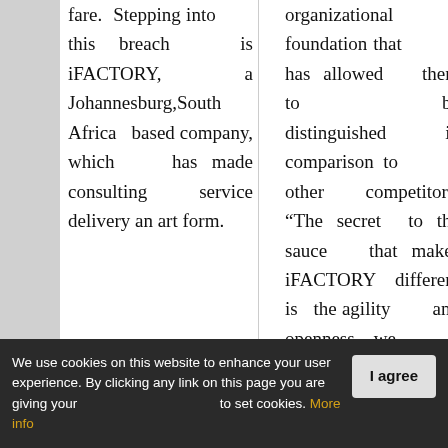fare. Stepping into this breach is iFACTORY, a Johannesburg,South Africa based company, which has made consulting service delivery an art form.
organizational foundation that has allowed them to be distinguished in comparison to other competitors. “The secret to the sauce that makes iFACTORY different is the agility and openness we
We use cookies on this website to enhance your user experience. By clicking any link on this page you are giving your consent to set cookies. More info